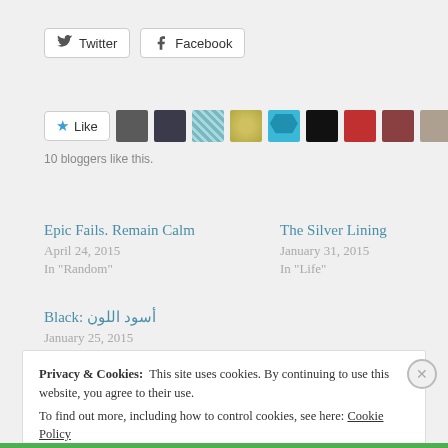[Figure (other): Twitter share button with bird icon]
[Figure (other): Facebook share button with f icon]
[Figure (other): Like button with star icon and 10 blogger avatars]
10 bloggers like this.
Epic Fails. Remain Calm
April 24, 2015
In "Random"
The Silver Lining
January 31, 2015
In "Life"
Black: أسود اللون
January 25, 2015
In "Sleep"
Privacy & Cookies:  This site uses cookies. By continuing to use this website, you agree to their use.
To find out more, including how to control cookies, see here: Cookie Policy
Close and accept